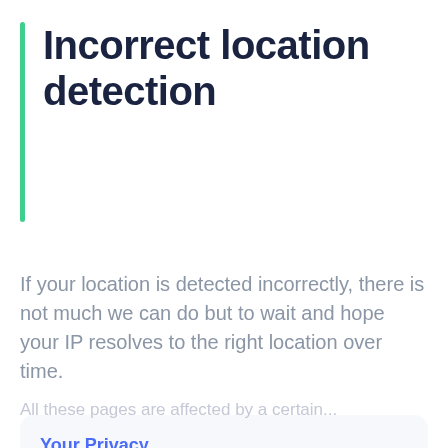Incorrect location detection
If your location is detected incorrectly, there is not much we can do but to wait and hope your IP resolves to the right location over time.
Your Privacy
We uses cookies to improve your experience on our site, analyse site traffic and to show you relevant content. By using our website, you consent to our use of cookies. For more information please, see our Privacy Policy
ACCEPT
All these pages are affected by a certain number of protocols and the occasionally bad...